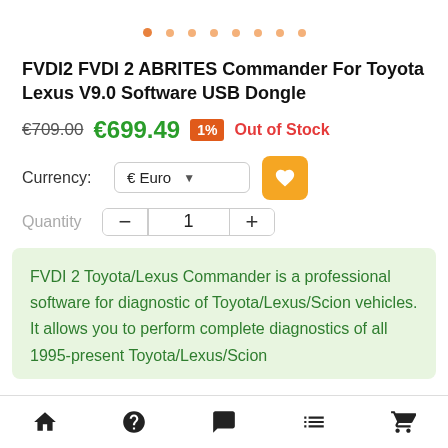[Figure (other): Carousel pagination dots, first dot active/orange, rest lighter orange]
FVDI2 FVDI 2 ABRITES Commander For Toyota Lexus V9.0 Software USB Dongle
€709.00  €699.49  1%  Out of Stock
Currency:  € Euro  ▼  [heart button]
Quantity  −  1  +
FVDI 2 Toyota/Lexus Commander is a professional software for diagnostic of Toyota/Lexus/Scion vehicles. It allows you to perform complete diagnostics of all 1995-present Toyota/Lexus/Scion
[Figure (other): Bottom navigation bar with home, help, chat, list, and cart icons]